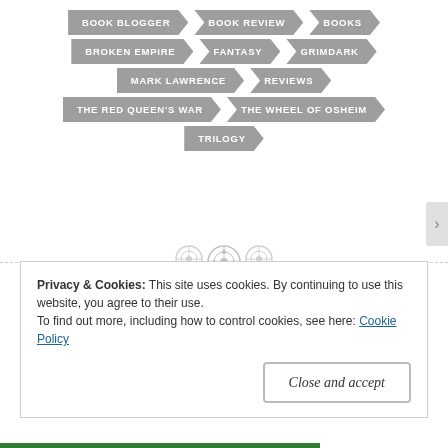BOOK BLOGGER | BOOK REVIEW | BOOKS | BROKEN EMPIRE | FANTASY | GRIMDARK | MARK LAWRENCE | REVIEWS | THE RED QUEEN'S WAR | THE WHEEL OF OSHEIM | TRILOGY
[Figure (illustration): Decorative divider with three circular button-like icons centered on a dashed horizontal line]
Privacy & Cookies: This site uses cookies. By continuing to use this website, you agree to their use.
To find out more, including how to control cookies, see here: Cookie Policy
Close and accept